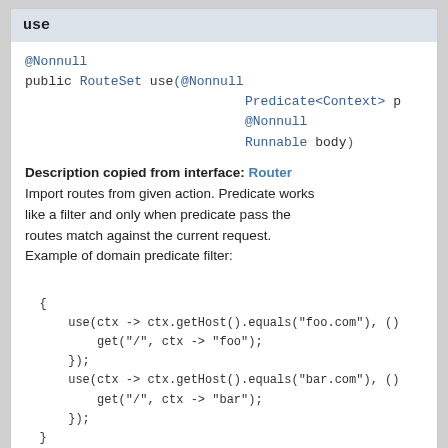use
@Nonnull
public RouteSet use(@Nonnull
                              Predicate<Context> p
                              @Nonnull
                              Runnable body)
Description copied from interface: Router
Import routes from given action. Predicate works like a filter and only when predicate pass the routes match against the current request. Example of domain predicate filter:
{
    use(ctx -> ctx.getHost().equals("foo.com"), ()
        get("/", ctx -> "foo");
    });
    use(ctx -> ctx.getHost().equals("bar.com"), ()
        get("/", ctx -> "bar");
    });
}